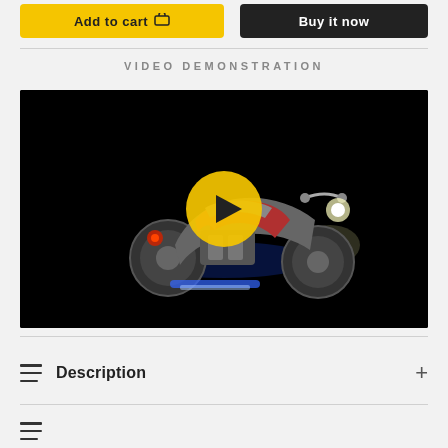[Figure (screenshot): Two e-commerce buttons: yellow 'Add to cart' button with cart icon on the left, and dark 'Buy it now' button on the right]
VIDEO DEMONSTRATION
[Figure (photo): Video player showing a dark background with a LEGO motorcycle model lit with colorful lights, featuring a yellow play button overlay in the center]
Description
(collapsed section with lines icon and plus button)